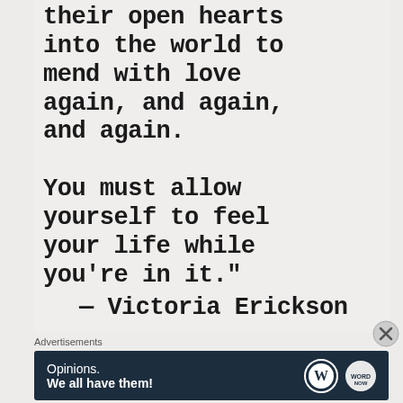their open hearts into the world to mend with love again, and again, and again.

You must allow yourself to feel your life while you're in it."
— Victoria Erickson
Advertisements
[Figure (other): Advertisement banner with dark navy background showing 'Opinions. We all have them!' text and WordPress and another logo on the right.]